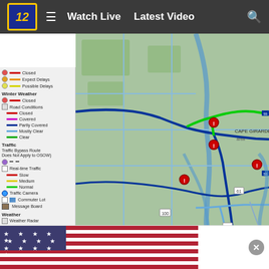12  ≡  Watch Live  Latest Video  🔍
[Figure (map): Missouri Department of Transportation travel map showing road conditions legend (Closed, Expect Delays, Possible Delays, Winter Weather, Road Conditions with color coding for Closed/Covered/Partly Covered/Mostly Clear/Clear, Traffic, Real-time Traffic indicators, Traffic Camera, Commuter Lot, Message Board, Weather Radar) and a map of southeastern Missouri/Cape Girardeau area showing highway routes with road condition overlays including blue and green colored routes.]
A look at the travel map from the Missouri Department of Transportation, as of 10 a.m. on Friday, Feb. 12. (Source: Missouri Department of Transportation) ((Source: Missouri Department of Transportation))